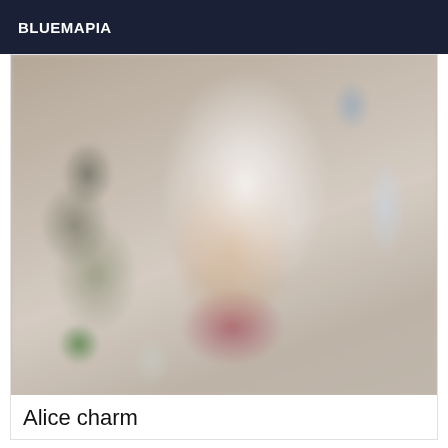BLUEMAPIA
[Figure (photo): Blurred/obscured photo of a person in a room, wearing a white top and pink/red underwear, with bottles visible on the floor. Reflection visible in mirror.]
Alice charm